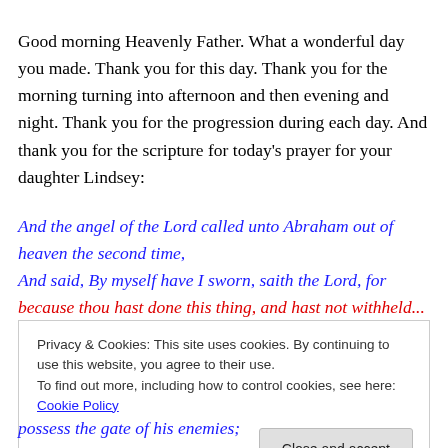Good morning Heavenly Father. What a wonderful day you made. Thank you for this day. Thank you for the morning turning into afternoon and then evening and night. Thank you for the progression during each day. And thank you for the scripture for today's prayer for your daughter Lindsey:
And the angel of the Lord called unto Abraham out of heaven the second time, And said, By myself have I sworn, saith the Lord, for because thou hast done this thing, and hast not withheld...
Privacy & Cookies: This site uses cookies. By continuing to use this website, you agree to their use. To find out more, including how to control cookies, see here: Cookie Policy
possess the gate of his enemies;